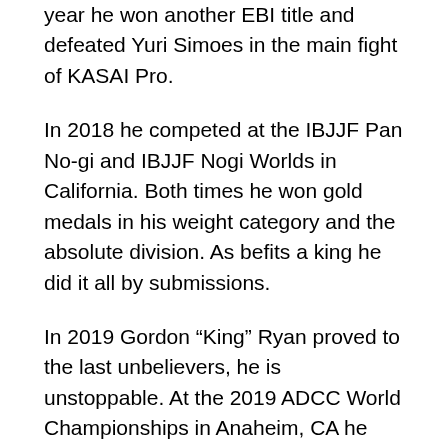year he won another EBI title and defeated Yuri Simoes in the main fight of KASAI Pro.
In 2018 he competed at the IBJJF Pan No-gi and IBJJF Nogi Worlds in California. Both times he won gold medals in his weight category and the absolute division. As befits a king he did it all by submissions.
In 2019 Gordon “King” Ryan proved to the last unbelievers, he is unstoppable. At the 2019 ADCC World Championships in Anaheim, CA he was barely challenged by any of the opponents he faced. He won two first frights by rear-naked choke (Ben Hodgkinson in the opening round and Tim Spriggs in the quarterfinal). Then he had a more difficult match with Lucas “Hulk” Barbosa. Gordon “King” Ryan couldn’t finish it by submission. However, he still won it with found the back locking on a body triangle for a decisive 3-0 win. In the final, he proved his dominance with a one-arm